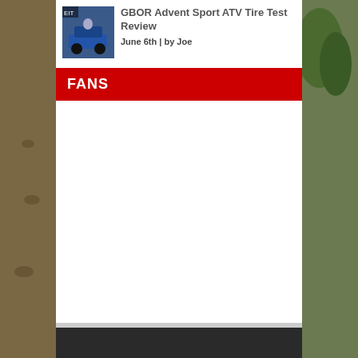[Figure (photo): Background muddy dirt trail with ATV tracks, trees visible on right side]
[Figure (photo): Small thumbnail photo of ATV rider on blue ATV]
GBOR Advent Sport ATV Tire Test Review
June 6th | by Joe
FANS